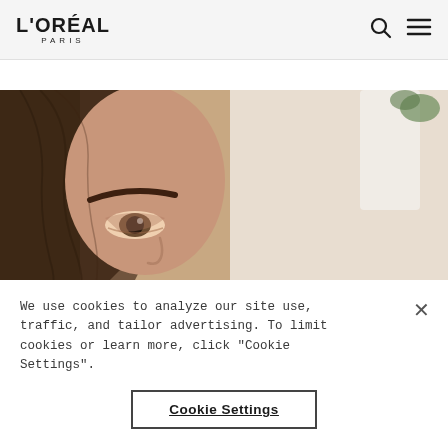L'ORÉAL PARIS
[Figure (photo): Close-up photo of a woman's face with brown hair, showing her eye and eyebrow, against a light beige background with a white vase visible in the upper right.]
We use cookies to analyze our site use, traffic, and tailor advertising. To limit cookies or learn more, click "Cookie Settings".
Cookie Settings